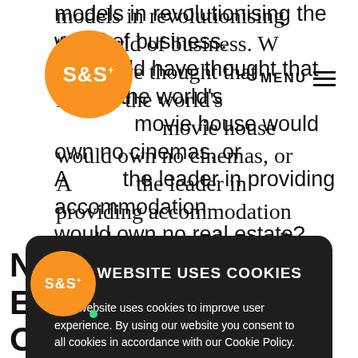models in revolutionising the world of business. Who would have thought that Netflix the world's movie house would own no cinemas, or Airbnb the leader in providing accommodation would own no real estate? These companies
[Figure (logo): S&S+ orange circular logo, top left]
MENU
THIS WEBSITE USES COOKIES
This website uses cookies to improve user experience. By using our website you consent to all cookies in accordance with our Cookie Policy.
Read more
AGREE
DISAGREE
[Figure (logo): S&S+ orange circular logo, bottom left with green dot]
NIFICANT SOCIO-ECONOMIC TREND OF THE